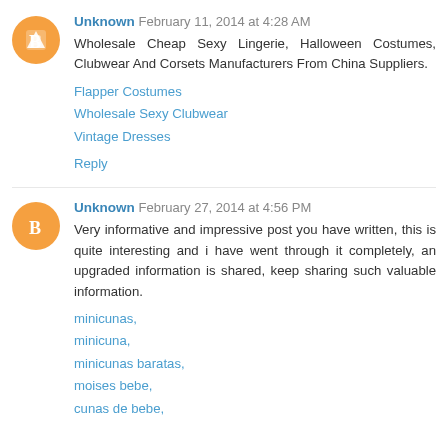Unknown  February 11, 2014 at 4:28 AM
Wholesale Cheap Sexy Lingerie, Halloween Costumes, Clubwear And Corsets Manufacturers From China Suppliers.
Flapper Costumes
Wholesale Sexy Clubwear
Vintage Dresses
Reply
Unknown  February 27, 2014 at 4:56 PM
Very informative and impressive post you have written, this is quite interesting and i have went through it completely, an upgraded information is shared, keep sharing such valuable information.
minicunas,
minicuna,
minicunas baratas,
moises bebe,
cunas de bebe,